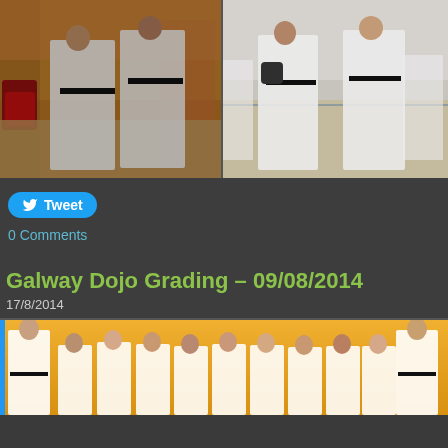[Figure (photo): Two karate practitioners in white gis with black belts sparring in a gym with orange walls and red pads]
[Figure (photo): Two karate practitioners sparring in a gymnasium with wooden floor and other students in background]
Tweet
0 Comments
Galway Dojo Grading – 09/08/2014
17/8/2014
[Figure (photo): Group photo of karate students in white gis against a yellow/orange background wall]